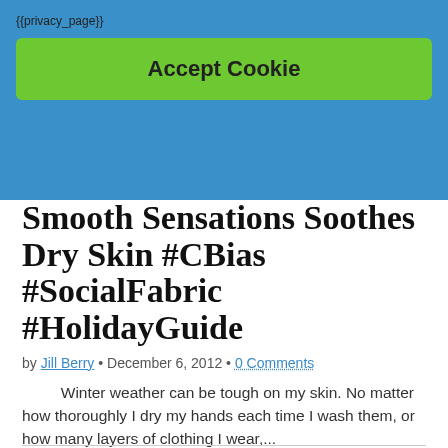{{privacy_page}}
Accept Cookie
Smooth Sensations Soothes Dry Skin #CBias #SocialFabric #HolidayGuide
by Jill Berry • December 6, 2012 • 0 Comments
Winter weather can be tough on my skin. No matter how thoroughly I dry my hands each time I wash them, or how many layers of clothing I wear,...
Read more →